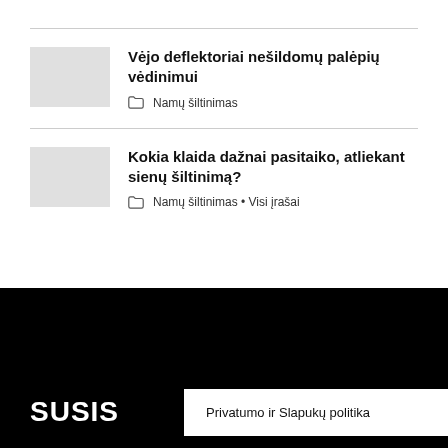Vėjo deflektoriai nešildomų palėpių vėdinimui
Namų šiltinimas
Kokia klaida dažnai pasitaiko, atliekant sienų šiltinimą?
Namų šiltinimas • Visi įrašai
[Figure (other): Black footer area with white SUSIS text (partial, cut off)]
Privatumo ir Slapukų politika